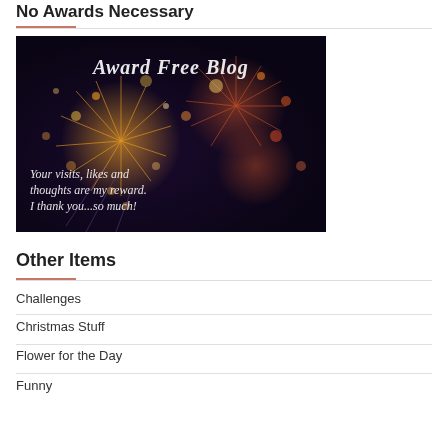No Awards Necessary
[Figure (photo): Award Free Blog fireworks photo with text: 'Award Free Blog' and 'Your visits, likes and thoughts are my reward. I thank you...so much!']
Other Items
Challenges
Christmas Stuff
Flower for the Day
Funny